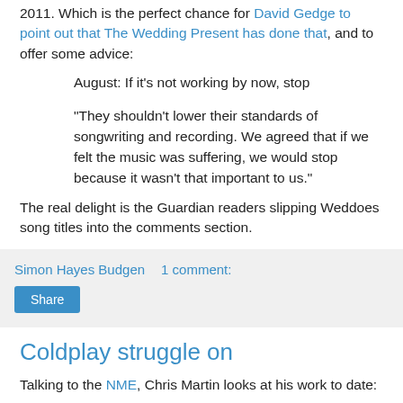2011. Which is the perfect chance for David Gedge to point out that The Wedding Present has done that, and to offer some advice:
August: If it's not working by now, stop
"They shouldn't lower their standards of songwriting and recording. We agreed that if we felt the music was suffering, we would stop because it wasn't that important to us."
The real delight is the Guardian readers slipping Weddoes song titles into the comments section.
Simon Hayes Budgen    1 comment:
Share
Coldplay struggle on
Talking to the NME, Chris Martin looks at his work to date: